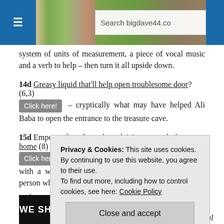Search bigdave44.co
system of units of measurement, a piece of vocal music and a verb to help – then turn it all upside down.
14d Greasy liquid that'll help open troublesome door? (6,3) Click here! – cryptically what may have helped Ali Baba to open the entrance to the treasure cave.
15d Empower board member advising remotely from home (8) Click here! – charade of a verb to empower or equip with a weapon and the short form of the title of the person who presides at board mee
17d Clic ... onal expe
Privacy & Cookies: This site uses cookies. By continuing to use this website, you agree to their use. To find out more, including how to control cookies, see here: Cookie Policy
[Figure (photo): Banner image with text WE SHED TWICE A YEAR]